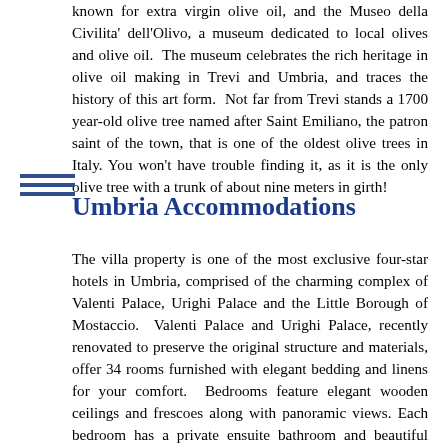known for extra virgin olive oil, and the Museo della Civilita' dell'Olivo, a museum dedicated to local olives and olive oil. The museum celebrates the rich heritage in olive oil making in Trevi and Umbria, and traces the history of this art form. Not far from Trevi stands a 1700 year-old olive tree named after Saint Emiliano, the patron saint of the town, that is one of the oldest olive trees in Italy. You won't have trouble finding it, as it is the only olive tree with a trunk of about nine meters in girth!
Umbria Accommodations
The villa property is one of the most exclusive four-star hotels in Umbria, comprised of the charming complex of Valenti Palace, Urighi Palace and the Little Borough of Mostaccio. Valenti Palace and Urighi Palace, recently renovated to preserve the original structure and materials, offer 34 rooms furnished with elegant bedding and linens for your comfort. Bedrooms feature elegant wooden ceilings and frescoes along with panoramic views. Each bedroom has a private ensuite bathroom and beautiful Italian marble and ceramic – some rooms have Jacuzzi hydro massage baths. All rooms include air conditioning, a minibar, safe, a hairdryer, satellite TV, direct line telephone and attachment for personal computer and internet connection. Italian breakfast is served daily and includes artisan bread, toast, yogurt, granola, pastry and cakes, coffee, tea and fruit juices.